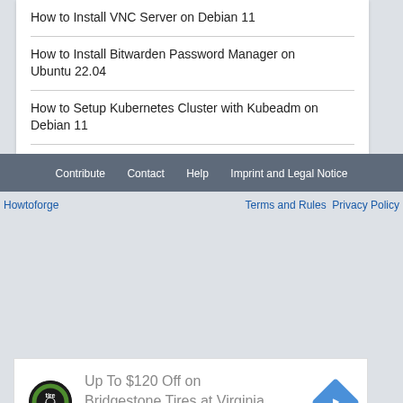How to Install VNC Server on Debian 11
How to Install Bitwarden Password Manager on Ubuntu 22.04
How to Setup Kubernetes Cluster with Kubeadm on Debian 11
Contribute   Contact   Help   Imprint and Legal Notice
Howtoforge
Terms and Rules Privacy Policy
[Figure (infographic): Advertisement banner: Up To $120 Off on Bridgestone Tires at Virginia Tire & Auto, with tire auto logo and navigation arrow icon]